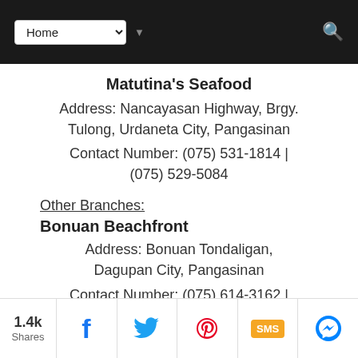Home [dropdown] [search]
Matutina's Seafood
Address: Nancayasan Highway, Brgy. Tulong, Urdaneta City, Pangasinan
Contact Number: (075) 531-1814 | (075) 529-5084
Other Branches:
Bonuan Beachfront
Address: Bonuan Tondaligan, Dagupan City, Pangasinan
Contact Number: (075) 614-3162 | (0917) 642-1466
1.4k Shares [Facebook] [Twitter] [Pinterest] [SMS] [Messenger]